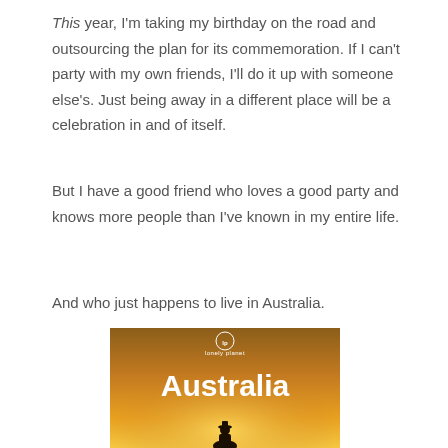This year, I'm taking my birthday on the road and outsourcing the plan for its commemoration. If I can't party with my own friends, I'll do it up with someone else's. Just being away in a different place will be a celebration in and of itself.
But I have a good friend who loves a good party and knows more people than I've known in my entire life.
And who just happens to live in Australia.
[Figure (photo): Lonely Planet Australia travel guide book cover with orange/golden gradient background, white 'lonely planet' logo at top, large white 'Australia' text, and silhouette of person at bottom]